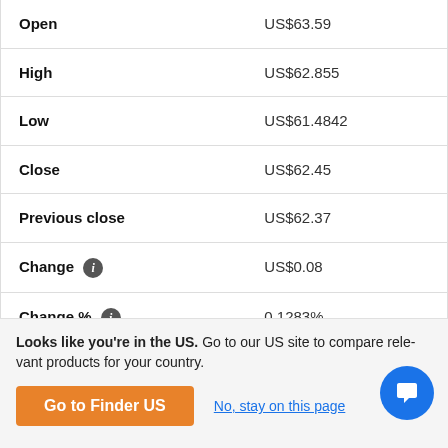| Field | Value |
| --- | --- |
| Open | US$63.59 |
| High | US$62.855 |
| Low | US$61.4842 |
| Close | US$62.45 |
| Previous close | US$62.37 |
| Change ⓘ | US$0.08 |
| Change % ⓘ | 0.1283% |
| Volume ⓘ | 4,988,776 |
Looks like you're in the US. Go to our US site to compare relevant products for your country.
Go to Finder US
No, stay on this page